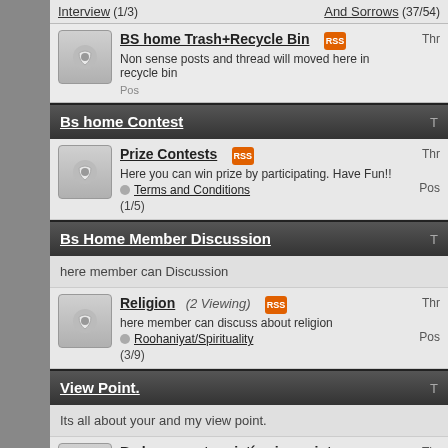Interview (1/3)   And Sorrows (37/54)
BS home Trash+Recycle Bin
Non sense posts and thread will moved here in recycle bin
Bs home Contest
Prize Contests
Here you can win prize by participating. Have Fun!!
Terms and Conditions (1/5)
Bs Home Member Discussion
here member can Discussion
Religion (2 Viewing)
here member can discuss about religion
Roohaniyat/Spirituality (3/9)
View Point.
Its all about your and my view point.
Bs home cartoonist´s viewpoint (1 Viewing)
hmmm not bad